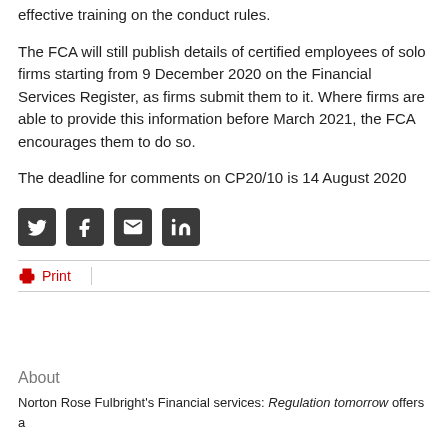effective training on the conduct rules.
The FCA will still publish details of certified employees of solo firms starting from 9 December 2020 on the Financial Services Register, as firms submit them to it. Where firms are able to provide this information before March 2021, the FCA encourages them to do so.
The deadline for comments on CP20/10 is 14 August 2020
[Figure (other): Social media sharing icons: Twitter, Facebook, Email, LinkedIn]
Print
About
Norton Rose Fulbright's Financial services: Regulation tomorrow offers a